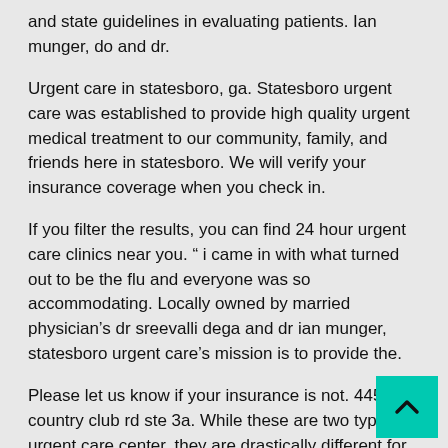and state guidelines in evaluating patients. Ian munger, do and dr.
Urgent care in statesboro, ga. Statesboro urgent care was established to provide high quality urgent medical treatment to our community, family, and friends here in statesboro. We will verify your insurance coverage when you check in.
If you filter the results, you can find 24 hour urgent care clinics near you. " i came in with what turned out to be the flu and everyone was so accommodating. Locally owned by married physician's dr sreevalli dega and dr ian munger, statesboro urgent care's mission is to provide the.
Please let us know if your insurance is not. 4451 country club rd ste 3a. While these are two types of urgent care center, they are drastically different for many reasons.
Most emergency rooms are open 24 hours a day and can become congested or have longer wait times than an ur care. The urgent care center of richmond hill.